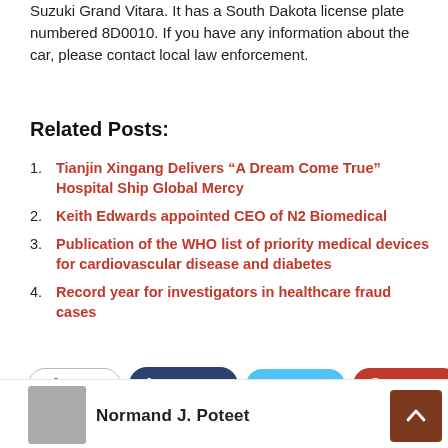Suzuki Grand Vitara. It has a South Dakota license plate numbered 8D0010. If you have any information about the car, please contact local law enforcement.
Related Posts:
Tianjin Xingang Delivers “A Dream Come True” Hospital Ship Global Mercy
Keith Edwards appointed CEO of N2 Biomedical
Publication of the WHO list of priority medical devices for cardiovascular disease and diabetes
Record year for investigators in healthcare fraud cases
[Figure (screenshot): Social sharing buttons: Share, Facebook, Twitter, Google+, and a plus button]
Normand J. Poteet